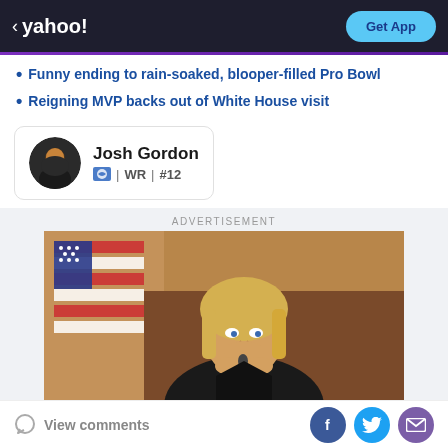yahoo! Get App
Funny ending to rain-soaked, blooper-filled Pro Bowl
Reigning MVP backs out of White House visit
Josh Gordon | WR | #12
ADVERTISEMENT
[Figure (photo): Blonde woman in black suit sitting at a desk with an American flag in the background, hands clasped under her chin, thoughtful expression]
View comments